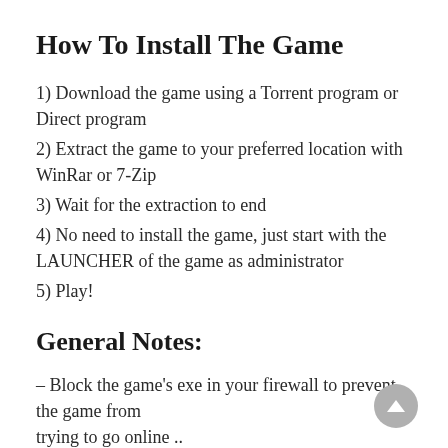How To Install The Game
1) Download the game using a Torrent program or Direct program
2) Extract the game to your preferred location with WinRar or 7-Zip
3) Wait for the extraction to end
4) No need to install the game, just start with the LAUNCHER of the game as administrator
5) Play!
General Notes:
– Block the game's exe in your firewall to prevent the game from trying to go online ..